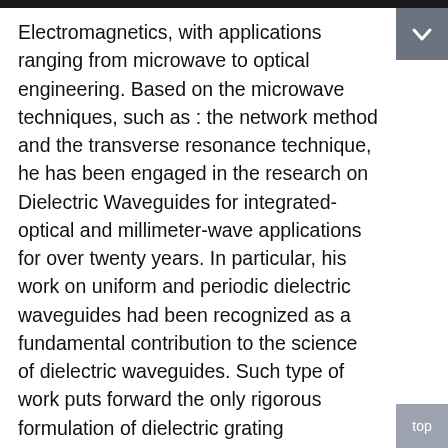Electromagnetics, with applications ranging from microwave to optical engineering. Based on the microwave techniques, such as : the network method and the transverse resonance technique, he has been engaged in the research on Dielectric Waveguides for integrated-optical and millimeter-wave applications for over twenty years. In particular, his work on uniform and periodic dielectric waveguides had been recognized as a fundamental contribution to the science of dielectric waveguides. Such type of work puts forward the only rigorous formulation of dielectric grating waveguides under the most general excitation condition. In addition, he has undertaken the study of various nonuniform dielectric waveguides for applications as antennas. His technical contributions have earned him the honors of IEEE Fellow and SPIE Fellow. Besides his teaching and research responsibilities,